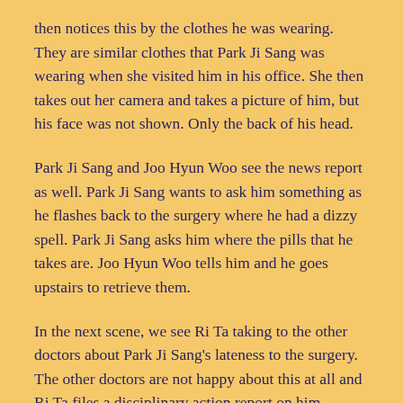then notices this by the clothes he was wearing. They are similar clothes that Park Ji Sang was wearing when she visited him in his office. She then takes out her camera and takes a picture of him, but his face was not shown. Only the back of his head.
Park Ji Sang and Joo Hyun Woo see the news report as well. Park Ji Sang wants to ask him something as he flashes back to the surgery where he had a dizzy spell. Park Ji Sang asks him where the pills that he takes are. Joo Hyun Woo tells him and he goes upstairs to retrieve them.
In the next scene, we see Ri Ta taking to the other doctors about Park Ji Sang's lateness to the surgery. The other doctors are not happy about this at all and Ri Ta files a disciplinary action report on him.
We then see a flashback of Lee Jae Wook talking to his mentor who is also a doctor. They are arguing over some